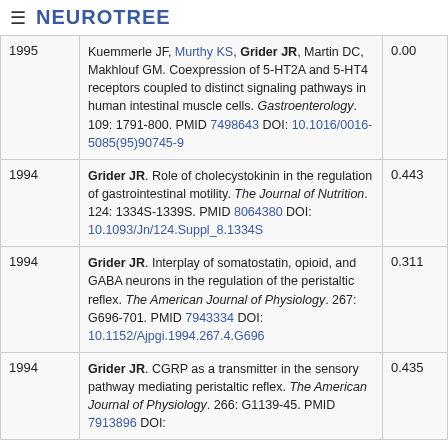≡ NEUROTREE
| Year | Reference | Score |
| --- | --- | --- |
| 1995 | Kuemmerle JF, Murthy KS, Grider JR, Martin DC, Makhlouf GM. Coexpression of 5-HT2A and 5-HT4 receptors coupled to distinct signaling pathways in human intestinal muscle cells. Gastroenterology. 109: 1791-800. PMID 7498643 DOI: 10.1016/0016-5085(95)90745-9 | 0.00 |
| 1994 | Grider JR. Role of cholecystokinin in the regulation of gastrointestinal motility. The Journal of Nutrition. 124: 1334S-1339S. PMID 8064380 DOI: 10.1093/Jn/124.Suppl_8.1334S | 0.443 |
| 1994 | Grider JR. Interplay of somatostatin, opioid, and GABA neurons in the regulation of the peristaltic reflex. The American Journal of Physiology. 267: G696-701. PMID 7943334 DOI: 10.1152/Ajpgi.1994.267.4.G696 | 0.311 |
| 1994 | Grider JR. CGRP as a transmitter in the sensory pathway mediating peristaltic reflex. The American Journal of Physiology. 266: G1139-45. PMID 7913896 DOI: | 0.435 |